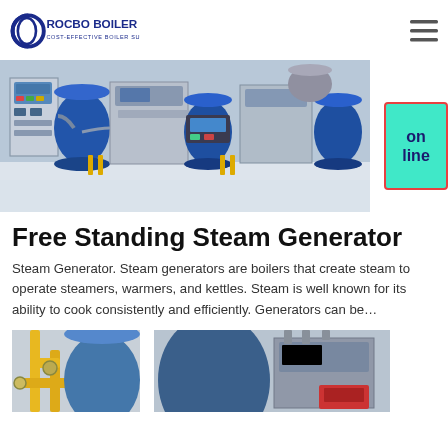ROCBO BOILER — COST-EFFECTIVE BOILER SUPPLIER
[Figure (photo): Industrial steam generator units with blue cylindrical tanks and control panels on a factory floor]
Free Standing Steam Generator
Steam Generator. Steam generators are boilers that create steam to operate steamers, warmers, and kettles. Steam is well known for its ability to cook consistently and efficiently. Generators can be…
[Figure (photo): Close-up of yellow pipes and industrial boiler equipment]
[Figure (photo): Large cylindrical blue boiler tank with red component]